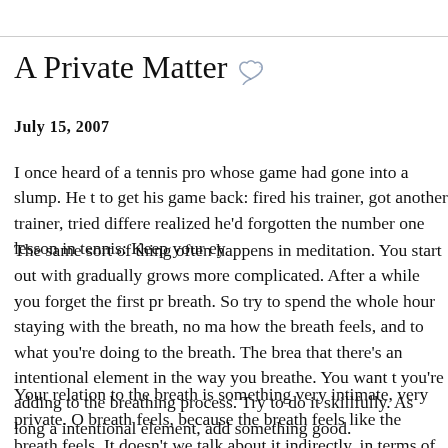A Private Matter
July 15, 2007
I once heard of a tennis pro whose game had gone into a slump. He tried to get his game back: fired his trainer, got another trainer, tried differe— realized he'd forgotten the number one lesson in tennis: Keep your ey—
The same sort of thing often happens in meditation. You start out with— gradually grows more complicated. After a while you forget the first pr— breath. So try to spend the whole hour staying with the breath, no ma— how the breath feels, and to what you're doing to the breath. The brea— that there's an intentional element in the way you breathe. You want t— you're adding to the breathing process. Try to do it skillfully. As long a— intentional element, add something good.
Your relation to the breath is something very intimate, very private. O— breath feels, because the breath feels like the breath feels. It doesn't— we talk about it indirectly, in terms of metaphors and similes, realizing— approximate. When you hear something in the instructions, learn to—